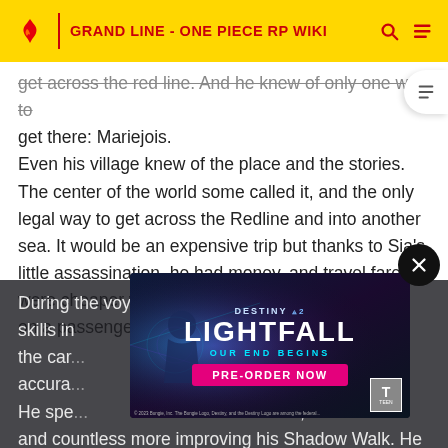GRAND LINE - ONE PIECE RP WIKI
get across the red line. And he knew of only one way to get there: Mariejois.
Even his village knew of the place and the stories. The center of the world some called it, and the only legal way to get across the Redline and into another sea. It would be an expensive trip but thanks to Sia's little assassination, he had money, and travel fares were cheaper without Lamars heavy taxes. He got on a passenger ship and set off for Mariejois.
During the voyage to Mariejois, he Practiced his skills in the car... accura... mind. He spe... nits, and countless more improving his Shadow Walk. He
[Figure (screenshot): Destiny 2 Lightfall advertisement banner: 'OUR END BEGINS' with 'PRE-ORDER NOW' button in pink, TEEN rating badge, and teal/purple sci-fi background.]